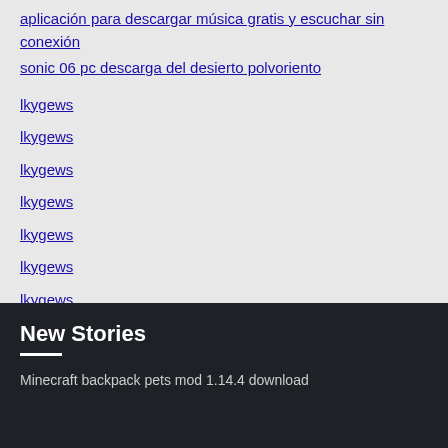aplicación para descargar música gratis y escuchar sin conexión
sonic 06 pc descarga del desierto polvoriento
lkygews
lkygews
lkygews
lkygews
lkygews
lkygews
lkygews
New Stories
Minecraft backpack pets mod 1.14.4 download